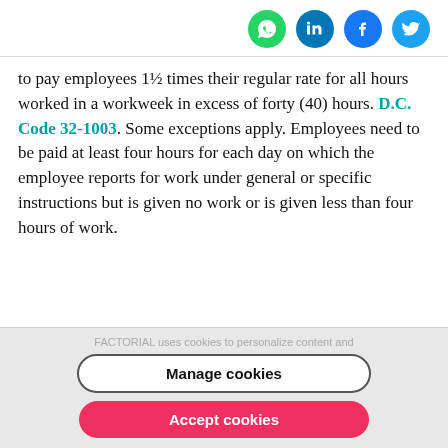[Figure (other): Social media share icons: WhatsApp (green circle), LinkedIn (dark blue circle), Facebook (blue circle), Twitter (light blue circle)]
to pay employees 1½ times their regular rate for all hours worked in a workweek in excess of forty (40) hours. D.C. Code 32-1003. Some exceptions apply. Employees need to be paid at least four hours for each day on which the employee reports for work under general or specific instructions but is given no work or is given less than four hours of work.
FACTORIAL uses cookies to personalize content and
Manage cookies
Accept cookies